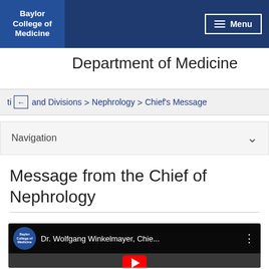Baylor College of Medicine — Menu
Department of Medicine
ti ← and Divisions > Nephrology > Chief's Message
Navigation
Message from the Chief of Nephrology
[Figure (screenshot): YouTube video thumbnail showing Dr. Wolfgang Winkelmayer, Chief of Nephrology, with Baylor College of Medicine branding overlay and a YouTube play button at the bottom center.]